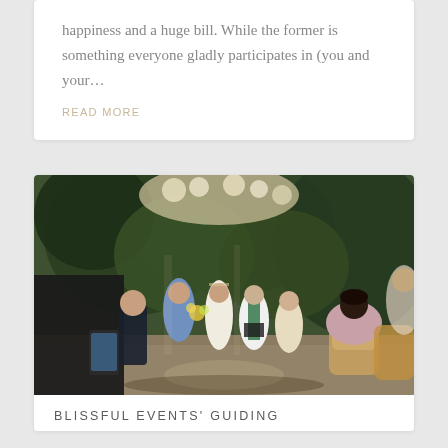happiness and a huge bill. While the former is something everyone gladly participates in (you and your...
READ MORE
[Figure (photo): Outdoor wedding ceremony in a garden setting. A bride in a lace gown stands with a groom, officiant, and wedding party beneath floral decorations and greenery. Guests are seated watching from wooden chairs, some photographing with phones.]
BLISSFUL EVENTS' GUIDING